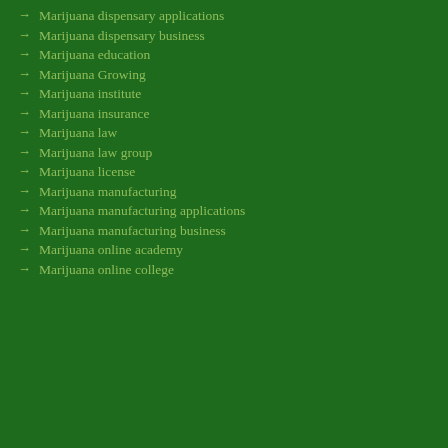Marijuana dispensary applications
Marijuana dispensary business
Marijuana education
Marijuana Growing
Marijuana institute
Marijuana insurance
Marijuana law
Marijuana law group
Marijuana license
Marijuana manufacturing
Marijuana manufacturing applications
Marijuana manufacturing business
Marijuana online academy
Marijuana online college